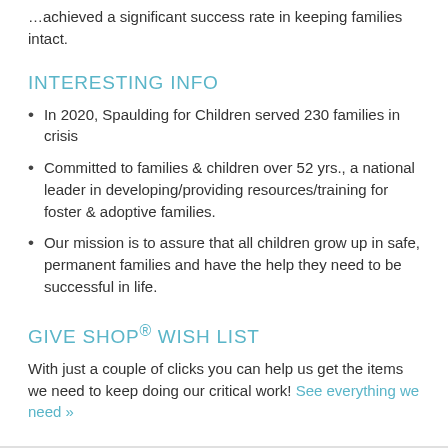…achieved a significant success rate in keeping families intact.
INTERESTING INFO
In 2020, Spaulding for Children served 230 families in crisis
Committed to families & children over 52 yrs., a national leader in developing/providing resources/training for foster & adoptive families.
Our mission is to assure that all children grow up in safe, permanent families and have the help they need to be successful in life.
GIVE SHOP® WISH LIST
With just a couple of clicks you can help us get the items we need to keep doing our critical work! See everything we need »